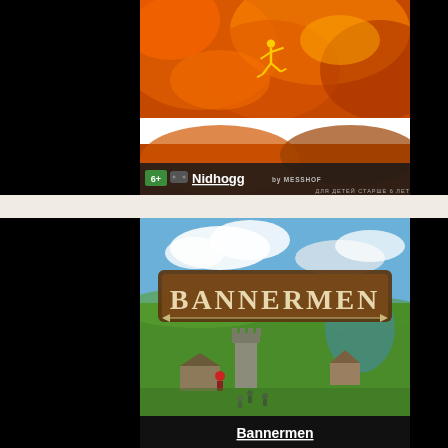[Figure (screenshot): Nidhogg game cover art: orange/fire background with a horizontal white stripe, a gold running figure silhouette. Bottom bar shows a green age rating badge '6+', a controller icon, bold white underlined text 'Nidhogg' followed by 'by MESSHOF' in small caps, and Cyrillic text 'ДЛЯ ДЕТЕЙ СТАРШЕ 6 ЛЕТ' below.]
[Figure (screenshot): Bannermen game cover art: medieval RTS/strategy game showing a green landscape with stone tower, trees, medieval buildings, soldiers. Large brown plaque logo reads 'BANNERMEN' in stone-carved letters with decorative arrows. Bottom bar shows white bold underlined text 'Bannermen'.]